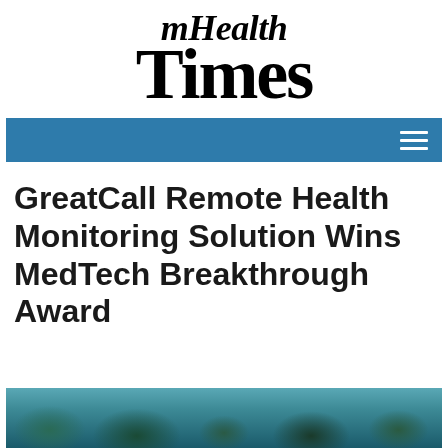[Figure (logo): mHealth Times newspaper-style logo with blackletter/Old English font for 'Times' and italic bold serif for 'mHealth' above it]
[Figure (other): Blue navigation bar with hamburger menu icon (three horizontal white lines) on the right side]
GreatCall Remote Health Monitoring Solution Wins MedTech Breakthrough Award
[Figure (photo): Partial photograph at the bottom of the page showing what appears to be trees or foliage against a teal/blue-green sky background]